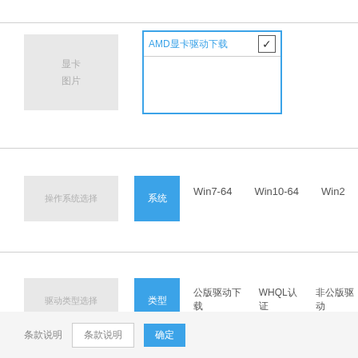[Figure (screenshot): Gray image placeholder box with placeholder text lines]
[Figure (screenshot): AMD dropdown select box with blue border and checkmark, showing AMD product name]
[Figure (screenshot): Gray image placeholder for OS selection row]
[Figure (screenshot): Blue selected button and OS options: Win7-64, Win10-64, Win2...]
[Figure (screenshot): Gray image placeholder for driver type selection row]
[Figure (screenshot): Blue selected button and driver type options: WHQL认证, and others]
[Figure (screenshot): Bottom action bar with text buttons and blue confirm button]